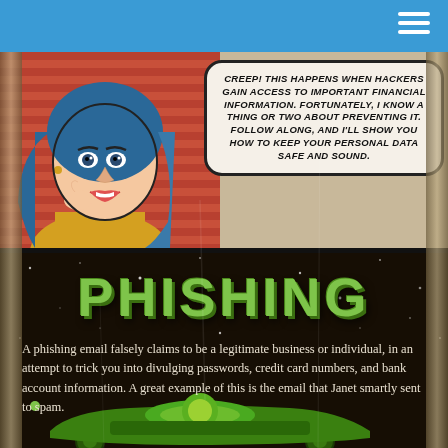[Figure (illustration): Retro pop-art comic panel showing a woman with blue hair speaking in a speech bubble about hackers gaining access to financial information, promising to show how to keep personal data safe.]
CREEP! THIS HAPPENS WHEN HACKERS GAIN ACCESS TO IMPORTANT FINANCIAL INFORMATION. FORTUNATELY, I KNOW A THING OR TWO ABOUT PREVENTING IT. FOLLOW ALONG, AND I'LL SHOW YOU HOW TO KEEP YOUR PERSONAL DATA SAFE AND SOUND.
[Figure (infographic): Retro sci-fi style dark panel with 'PHISHING' title in green grunge font, followed by explanatory text about phishing emails, with a green vintage vehicle illustration at the bottom.]
PHISHING
A phishing email falsely claims to be a legitimate business or individual, in an attempt to trick you into divulging passwords, credit card numbers, and bank account information. A great example of this is the email that Janet smartly sent to spam.